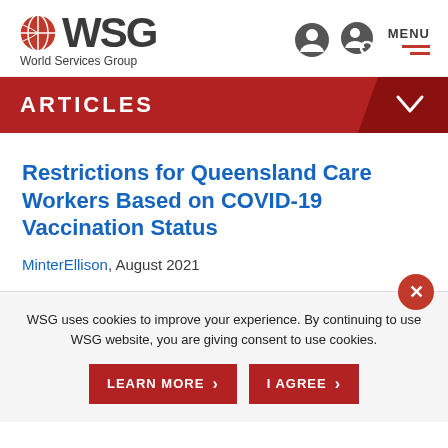[Figure (logo): WSG World Services Group logo with globe icon]
ARTICLES
Restrictions for Queensland Care Workers Based on COVID-19 Vaccination Status
MinterEllison, August 2021
WSG uses cookies to improve your experience. By continuing to use WSG website, you are giving consent to use cookies.
LEARN MORE
I AGREE